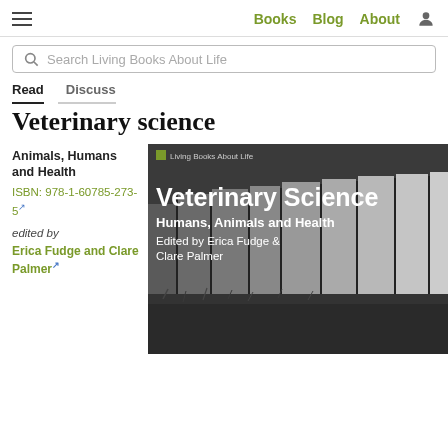Books  Blog  About
Search Living Books About Life
Read  Discuss
Veterinary science
Animals, Humans and Health
ISBN: 978-1-60785-273-5
edited by Erica Fudge and Clare Palmer
[Figure (photo): Book cover for 'Veterinary Science: Humans, Animals and Health' edited by Erica Fudge & Clare Palmer, published by Living Books About Life. Black and white image of wooden fence posts with grass below. White text overlay shows title and subtitle.]